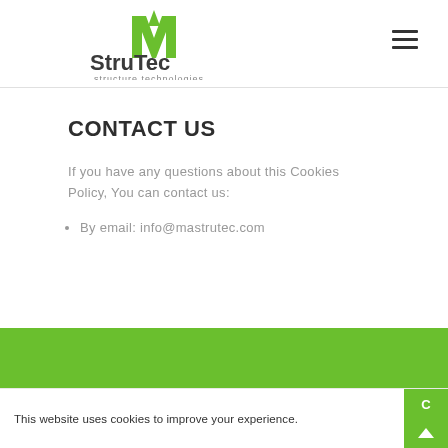[Figure (logo): MA StruTec structure technologies logo with green M/A icon and gray text]
CONTACT US
If you have any questions about this Cookies Policy, You can contact us:
By email: info@mastrutec.com
This website uses cookies to improve your experience.